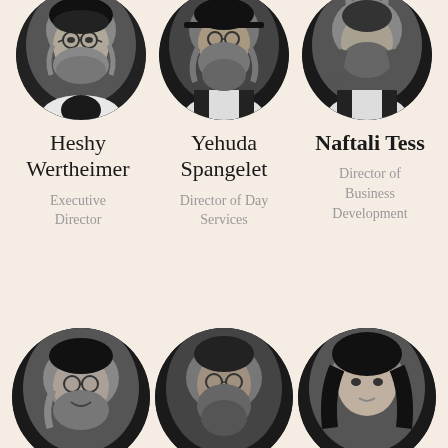[Figure (photo): Black and white circular portrait photo of Heshy Wertheimer, a bearded man wearing glasses and a dark jacket with white shirt]
[Figure (photo): Black and white circular portrait photo of Yehuda Spangelet, a bearded man wearing a dark vest over white shirt]
[Figure (photo): Black and white circular portrait photo of Naftali Tess, a man with beard and dreadlocks wearing dark vest over white shirt]
Heshy Wertheimer
Executive Director
Yehuda Spangelet
Director of Day Services
Naftali Tess
Director of Business Development
[Figure (photo): Black and white circular portrait photo of a smiling bearded man with glasses (partially cropped at bottom)]
[Figure (photo): Black and white circular portrait photo of a bearded man with glasses (partially cropped at bottom)]
[Figure (photo): Black and white circular portrait photo of a woman with dark hair (partially cropped at bottom)]